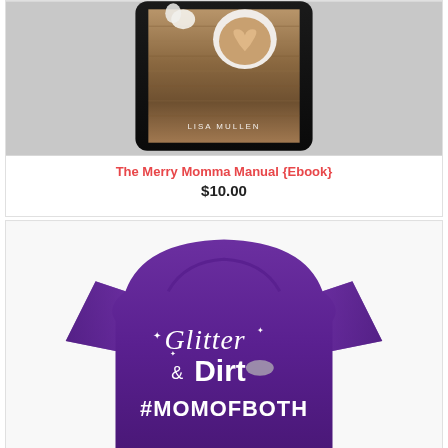[Figure (photo): A tablet/e-reader device displaying a book cover with a coffee cup on a wooden table background, with 'LISA MULLEN' text on the screen]
The Merry Momma Manual {Ebook}
$10.00
[Figure (photo): A purple t-shirt with 'Glitter & Dirt #MOMOFBOTH' printed in white text on the front]